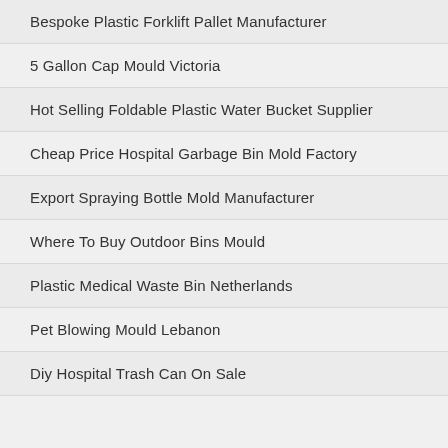Bespoke Plastic Forklift Pallet Manufacturer
5 Gallon Cap Mould Victoria
Hot Selling Foldable Plastic Water Bucket Supplier
Cheap Price Hospital Garbage Bin Mold Factory
Export Spraying Bottle Mold Manufacturer
Where To Buy Outdoor Bins Mould
Plastic Medical Waste Bin Netherlands
Pet Blowing Mould Lebanon
Diy Hospital Trash Can On Sale